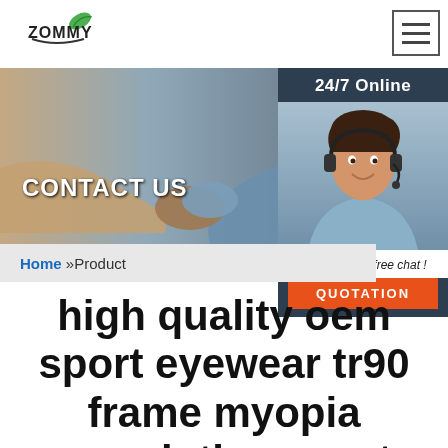[Figure (logo): ZOMMY company logo with leaf icon and stylized text]
[Figure (photo): Hamburger menu icon button]
[Figure (photo): Banner image of two people shaking hands in a professional setting with CONTACT US text overlay]
[Figure (photo): 24/7 Online customer support widget showing a smiling woman with headset, Click here for free chat text, and QUOTATION orange button]
Home »Product
high quality oem sport eyewear tr90 frame myopia prescription sports glasses